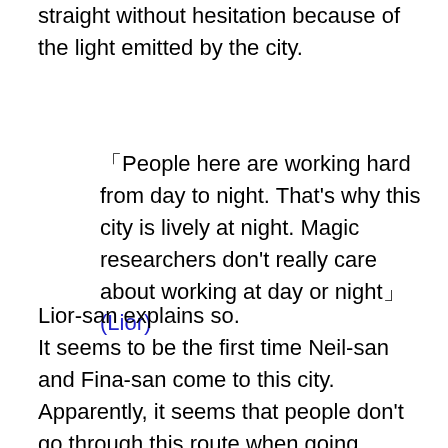straight without hesitation because of the light emitted by the city.
「People here are working hard from day to night. That’s why this city is lively at night. Magic researchers don’t really care about working at day or night」(Lior)
Lior-san explains so.
It seems to be the first time Neil-san and Fina-san come to this city.
Apparently, it seems that people don't go through this route when going straight from the Raza town to the royal capital.